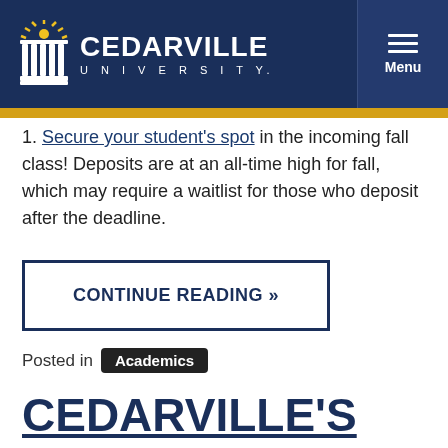[Figure (logo): Cedarville University logo with torch/pillars icon and university name in white on dark navy background, with hamburger Menu button on right]
1. Secure your student's spot in the incoming fall class! Deposits are at an all-time high for fall, which may require a waitlist for those who deposit after the deadline.
CONTINUE READING »
Posted in Academics
CEDARVILLE'S ACCELERATED